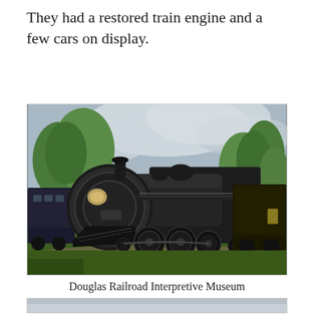They had a restored train engine and a few cars on display.
[Figure (photo): A large restored black steam locomotive on display outdoors at the Douglas Railroad Interpretive Museum, surrounded by green trees and a cloudy sky. The engine faces forward-left with detailed front boiler and large wheels visible, with additional rail cars behind it on a grassy lot.]
Douglas Railroad Interpretive Museum
[Figure (photo): Partial view of another photo at the bottom of the page, showing a light grey/white scene, likely another exhibit or outdoor display.]